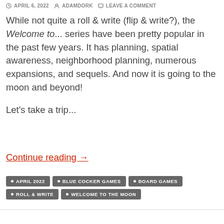APRIL 6, 2022  ADAMDORK  LEAVE A COMMENT
While not quite a roll & write (flip & write?), the Welcome to... series have been pretty popular in the past few years. It has planning, spatial awareness, neighborhood planning, numerous expansions, and sequels. And now it is going to the moon and beyond!

Let's take a trip...
Continue reading →
APRIL 2022
BLUE COCKER GAMES
BOARD GAMES
ROLL & WRITE
WELCOME TO THE MOON